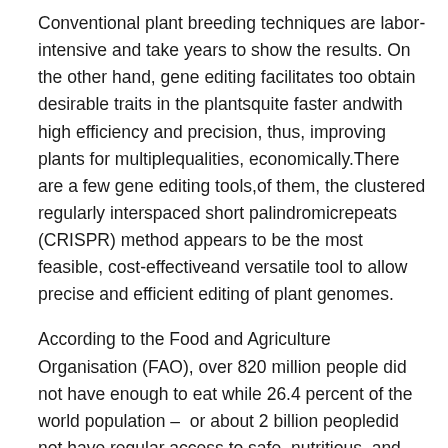Conventional plant breeding techniques are labor-intensive and take years to show the results. On the other hand, gene editing facilitates too obtain desirable traits in the plantsquite faster andwith high efficiency and precision, thus, improving plants for multiplequalities, economically.There are a few gene editing tools,of them, the clustered regularly interspaced short palindromicrepeats (CRISPR) method appears to be the most feasible, cost-effectiveand versatile tool to allow precise and efficient editing of plant genomes.
According to the Food and Agriculture Organisation (FAO), over 820 million people did not have enough to eat while 26.4 percent of the world population – or about 2 billion peopledid not have regular access to safe, nutritious, and sufficient food in 2019. These people belong tounderdeveloped and developing countries. Gene editing technology has potential to revolutionize crop improvement,